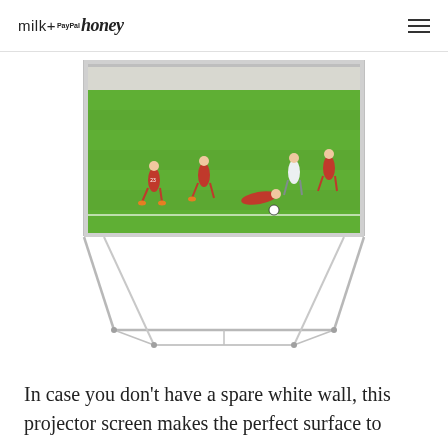milk+ honey (PayPal)
[Figure (illustration): A portable projector screen standing on a metal tripod-style frame. The top portion of the screen shows a soccer/football match being played on a grass field, with players in red uniforms. The screen frame has metallic legs spread out at the bottom.]
In case you don't have a spare white wall, this projector screen makes the perfect surface to